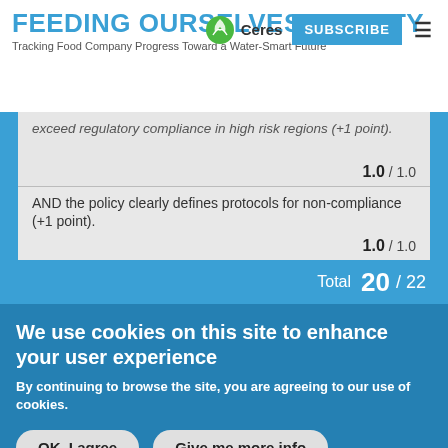FEEDING OURSELVES THIRSTY
Tracking Food Company Progress Toward a Water-Smart Future
exceed regulatory compliance in high risk regions (+1 point).
1.0 / 1.0
AND the policy clearly defines protocols for non-compliance (+1 point).
1.0 / 1.0
Total  20 / 22
We use cookies on this site to enhance your user experience
By continuing to browse the site, you are agreeing to our use of cookies.
OK, I agree
Give me more info